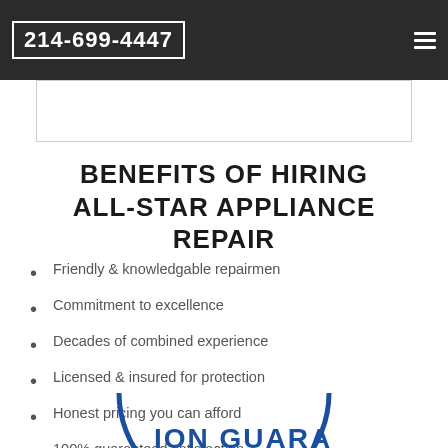214-699-4447
BENEFITS OF HIRING ALL-STAR APPLIANCE REPAIR
Friendly & knowledgable repairmen
Commitment to excellence
Decades of combined experience
Licensed & insured for protection
Honest pricing you can afford
100% guaranteed satisfaction.
100% on-time arrival guarantee
[Figure (illustration): Partial circular satisfaction guarantee stamp in blue, showing text 'TION GUARA' visible at bottom of page]